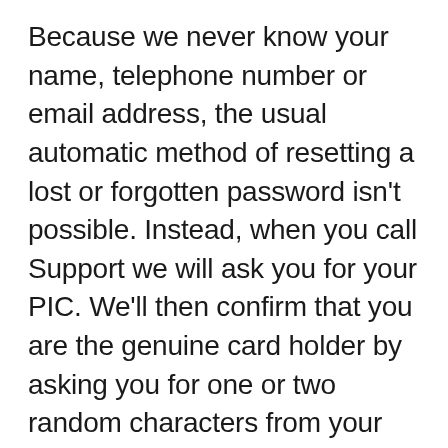Because we never know your name, telephone number or email address, the usual automatic method of resetting a lost or forgotten password isn't possible. Instead, when you call Support we will ask you for your PIC.  We'll then confirm that you are the genuine card holder by asking you for one or two random characters from your 'Secret Word'.
If you can't remember your Secret Word, we'll read you the 'Secret Word Hint' that you entered at registration as a reminder. Once we are sure that it's you, we'll